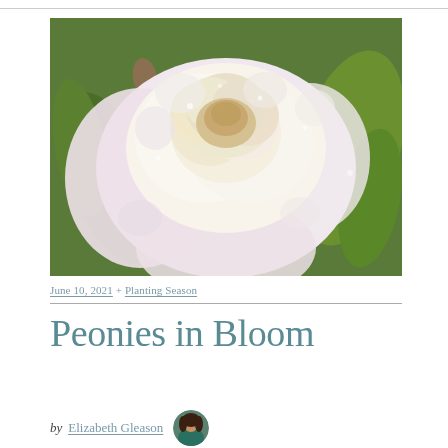[Figure (photo): Close-up photograph of a large white/cream peony flower in bloom with soft pink outer petals and green foliage in the background, with water droplets visible on the petals.]
June 10, 2021 + Planting Season
Peonies in Bloom
by Elizabeth Gleason